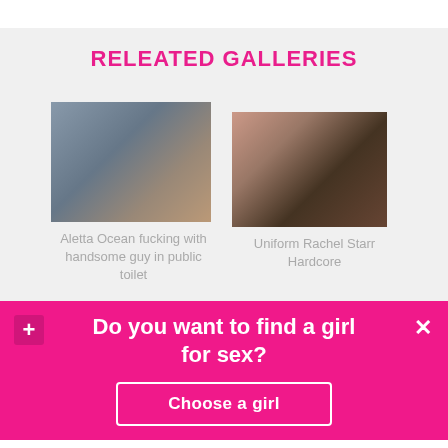RELEATED GALLERIES
[Figure (photo): Photo placeholder for gallery item: Aletta Ocean fucking with handsome guy in public toilet]
Aletta Ocean fucking with handsome guy in public toilet
[Figure (photo): Photo placeholder for gallery item: Uniform Rachel Starr Hardcore]
Uniform Rachel Starr Hardcore
Do you want to find a girl for sex?
Choose a girl